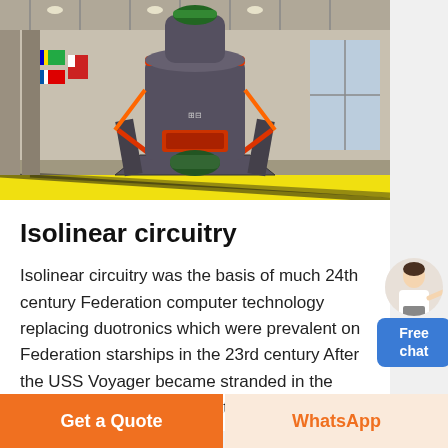[Figure (photo): Industrial grinding mill machine inside a large factory/warehouse with international flags visible in the background. The machine is dark grey with red/orange accents and a green motor at the base.]
Isolinear circuitry
Isolinear circuitry was the basis of much 24th century Federation computer technology replacing duotronics which were prevalent on Federation starships in the 23rd century After the USS Voyager became stranded in the Delta Quadrant the crew attempted to retrofit
[Figure (illustration): Free chat widget: a woman in business attire pointing, next to a blue rounded rectangle button with 'Free chat' text in white.]
Get a Quote
WhatsApp